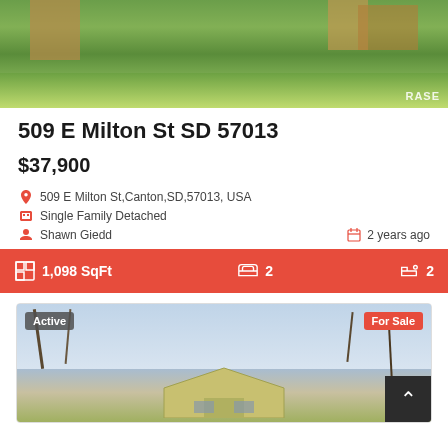[Figure (photo): Outdoor photo of property showing green vegetation and wooden structures, with RASE watermark]
509 E Milton St SD 57013
$37,900
509 E Milton St,Canton,SD,57013, USA
Single Family Detached
Shawn Giedd
2 years ago
1,098 SqFt   2   2
[Figure (photo): Second property listing photo showing a yellow house with bare trees, with Active and For Sale badges]